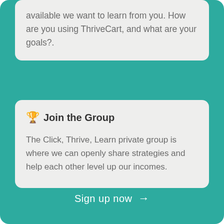available we want to learn from you. How are you using ThriveCart, and what are your goals?.
🏆 Join the Group
The Click, Thrive, Learn private group is where we can openly share strategies and help each other level up our incomes.
Sign up now →